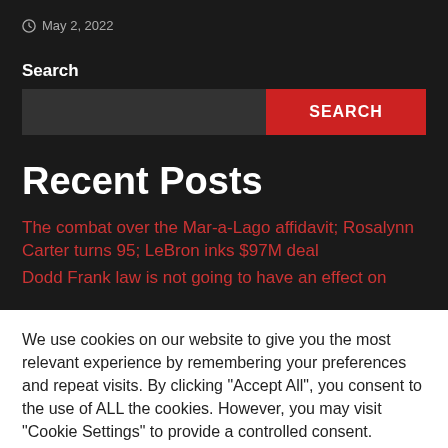May 2, 2022
Search
SEARCH
Recent Posts
The combat over the Mar-a-Lago affidavit; Rosalynn Carter turns 95; LeBron inks $97M deal
Dodd Frank law is not going to have an effect on
We use cookies on our website to give you the most relevant experience by remembering your preferences and repeat visits. By clicking "Accept All", you consent to the use of ALL the cookies. However, you may visit "Cookie Settings" to provide a controlled consent.
Cookie Settings
Accept All